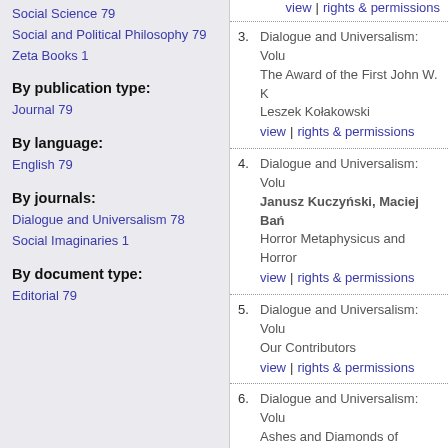Social Science 79
Social and Political Philosophy 79
Zeta Books 1
By publication type:
Journal 79
By language:
English 79
By journals:
Dialogue and Universalism 78
Social Imaginaries 1
By document type:
Editorial 79
view | rights & permissions
3. Dialogue and Universalism: Volu... The Award of the First John W. K... Leszek Kołakowski
view | rights & permissions
4. Dialogue and Universalism: Volu... Janusz Kuczyński, Maciej Bań... Horror Metaphysicus and Horror...
view | rights & permissions
5. Dialogue and Universalism: Volu... Our Contributors
view | rights & permissions
6. Dialogue and Universalism: Volu... Ashes and Diamonds of Europea...
view | rights & permissions
7. Dialogue and Universalism: Volu... Editors Wisdom: Systemic Rese...
view | rights & permissions
8. Dialogue and Universalism: Volu... Our Contributors
view | rights & permissions